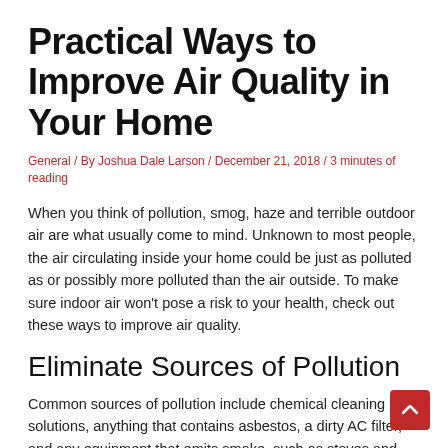Practical Ways to Improve Air Quality in Your Home
General / By Joshua Dale Larson / December 21, 2018 / 3 minutes of reading
When you think of pollution, smog, haze and terrible outdoor air are what usually come to mind. Unknown to most people, the air circulating inside your home could be just as polluted as or possibly more polluted than the air outside. To make sure indoor air won't pose a risk to your health, check out these ways to improve air quality.
Eliminate Sources of Pollution
Common sources of pollution include chemical cleaning solutions, anything that contains asbestos, a dirty AC filter, and any equipment that emits smoke, such as stoves and fireplaces. To improve air quality, eliminate these sources and replace them with more environmentally friendly alternatives.